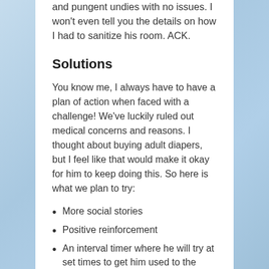and pungent undies with no issues. I won't even tell you the details on how I had to sanitize his room. ACK.
Solutions
You know me, I always have to have a plan of action when faced with a challenge! We've luckily ruled out medical concerns and reasons. I thought about buying adult diapers, but I feel like that would make it okay for him to keep doing this. So here is what we plan to try:
More social stories
Positive reinforcement
An interval timer where he will try at set times to get him used to the routine again
Continued tweaks to his diet
More movement, including yoga
Natural stool softener, such as flaxseed oil